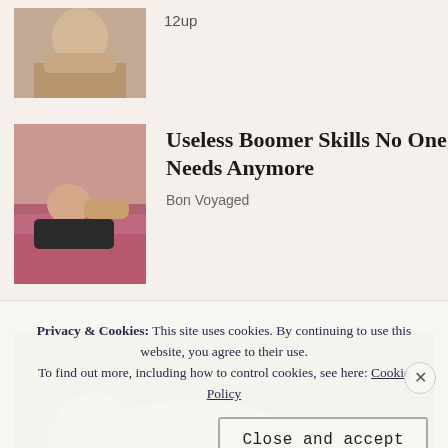[Figure (photo): Partial cropped thumbnail of a person, cut off at top of page]
12up
[Figure (photo): A woman lying on a pink couch or chaise lounge, wearing a black outfit]
Useless Boomer Skills No One Needs Anymore
Bon Voyaged
[Figure (photo): A white/grey dog lying or rolling on green grass outdoors]
Privacy & Cookies: This site uses cookies. By continuing to use this website, you agree to their use.
To find out more, including how to control cookies, see here: Cookie Policy
Close and accept